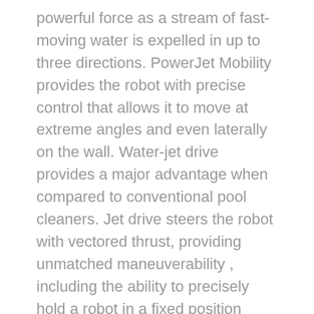powerful force as a stream of fast-moving water is expelled in up to three directions. PowerJet Mobility provides the robot with precise control that allows it to move at extreme angles and even laterally on the wall. Water-jet drive provides a major advantage when compared to conventional pool cleaners. Jet drive steers the robot with vectored thrust, providing unmatched maneuverability , including the ability to precisely hold a robot in a fixed position against the effects of gravity. The Quantum is the world's first pool robot propelled by three jet drives with thrust vector control for ultimate maneuverability. Power Jet 3D Mobility also improves navigation accuracy and enables the robot to escape and avoid any obstacle.